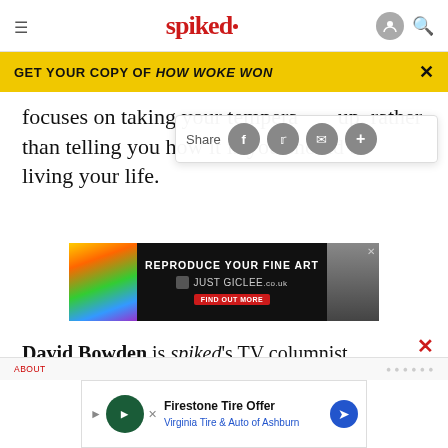spiked
GET YOUR COPY OF HOW WOKE WON
focuses on taking your temperature up, rather than telling you how it is you should be living your life.
[Figure (screenshot): Advertisement for Just Giclee: REPRODUCE YOUR FINE ART JUST GICLEE.co.uk FIND OUT MORE]
David Bowden is spiked's TV columnist.
[Figure (screenshot): Advertisement: Firestone Tire Offer - Virginia Tire & Auto of Ashburn]